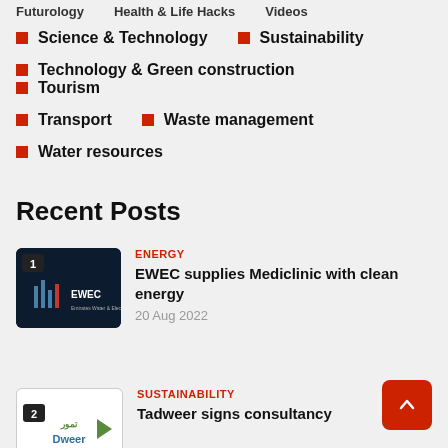Futurology   Health & Life Hacks   Videos
Science & Technology
Sustainability
Technology & Green construction
Tourism
Transport
Waste management
Water resources
Recent Posts
[Figure (logo): EWEC logo with number 1 badge on dark navy background]
ENERGY
EWEC supplies Mediclinic with clean energy
20 Aug 2022
[Figure (logo): Tadweer logo with number 2 badge on white background]
SUSTAINABILITY
Tadweer signs consultancy